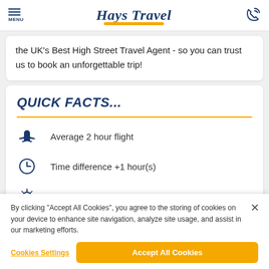Hays Travel — MENU / phone icon header
the UK's Best High Street Travel Agent - so you can trust us to book an unforgettable trip!
QUICK FACTS...
Average 2 hour flight
Time difference +1 hour(s)
Average temperature 23°C
By clicking “Accept All Cookies", you agree to the storing of cookies on your device to enhance site navigation, analyze site usage, and assist in our marketing efforts.